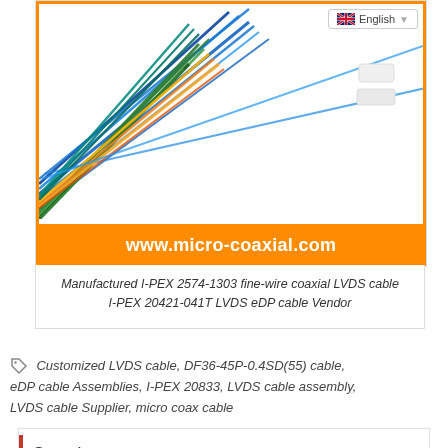[Figure (photo): Product photo of colorful fine-wire coaxial cables (blue, green, yellow) fanned out against an orange background. Website URL www.micro-coaxial.com shown at bottom of banner. English language selector visible top right.]
Manufactured I-PEX 2574-1303 fine-wire coaxial LVDS cable I-PEX 20421-041T LVDS eDP cable Vendor
Customized LVDS cable, DF36-45P-0.4SD(55) cable, eDP cable Assemblies, I-PEX 20833, LVDS cable assembly, LVDS cable Supplier, micro coax cable
Search